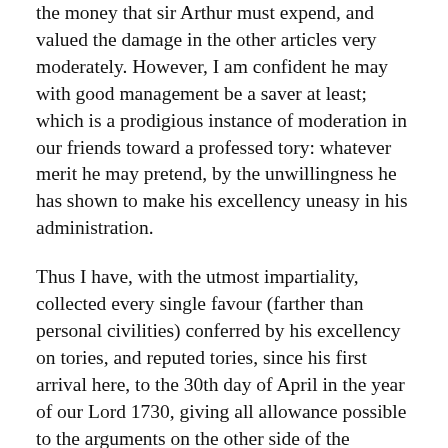the money that sir Arthur must expend, and valued the damage in the other articles very moderately. However, I am confident he may with good management be a saver at least; which is a prodigious instance of moderation in our friends toward a professed tory: whatever merit he may pretend, by the unwillingness he has shown to make his excellency uneasy in his administration.
Thus I have, with the utmost impartiality, collected every single favour (farther than personal civilities) conferred by his excellency on tories, and reputed tories, since his first arrival here, to the 30th day of April in the year of our Lord 1730, giving all allowance possible to the arguments on the other side of the question: and the account will stand thus:
Disposed of preferments and employments to tories, or reputed tories, by his excellency John, lord Carteret, lord lieutenant of Ireland, in the course of his government.